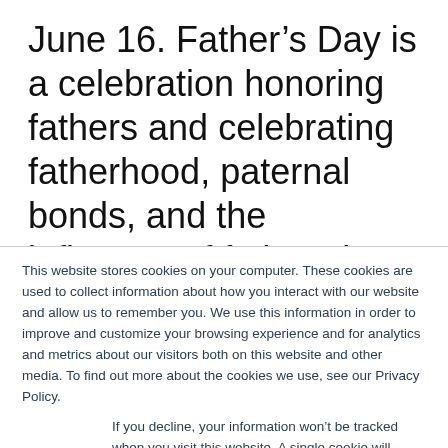June 16. Father's Day is a celebration honoring fathers and celebrating fatherhood, paternal bonds, and the influence of fathers in society. Father's Day is celebrated worldwide to recognize the contribution that fathers and father figures
This website stores cookies on your computer. These cookies are used to collect information about how you interact with our website and allow us to remember you. We use this information in order to improve and customize your browsing experience and for analytics and metrics about our visitors both on this website and other media. To find out more about the cookies we use, see our Privacy Policy.
If you decline, your information won't be tracked when you visit this website. A single cookie will be used in your browser to remember your preference not to be tracked.